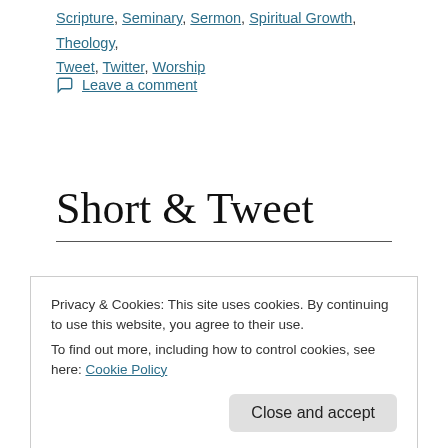Scripture, Seminary, Sermon, Spiritual Growth, Theology, Tweet, Twitter, Worship
Leave a comment
Short & Tweet
From Pastor David's sermon tonight: God shouldn't be your co-pilot, He
Privacy & Cookies: This site uses cookies. By continuing to use this website, you agree to their use. To find out more, including how to control cookies, see here: Cookie Policy